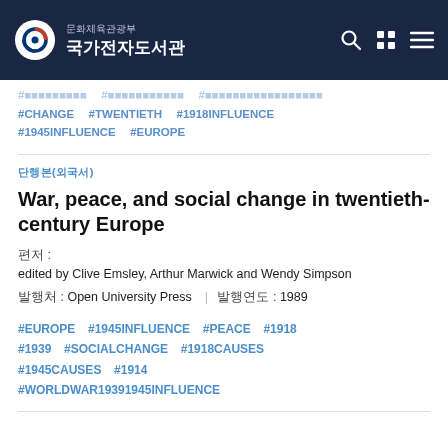문화체육관광부 국가전자도서관
#CHANGE #TWENTIETH #1918INFLUENCE #1945INFLUENCE #EUROPE
단행본(외국서)
War, peace, and social change in twentieth-century Europe
편저: edited by Clive Emsley, Arthur Marwick and Wendy Simpson
발행처: Open University Press | 발행연도: 1989
#EUROPE #1945INFLUENCE #PEACE #1918 #1939 #SOCIALCHANGE #1918CAUSES #1945CAUSES #1914 #WORLDWAR19391945INFLUENCE